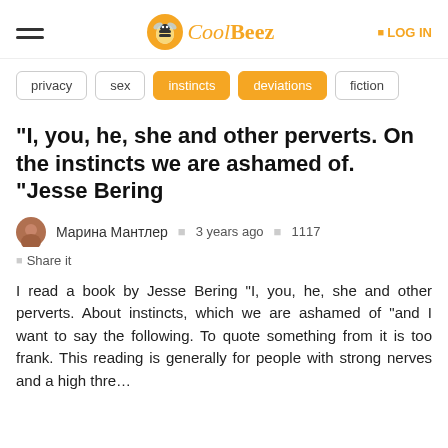CoolBeez — LOG IN
privacy
sex
instincts
deviations
fiction
“I, you, he, she and other perverts. On the instincts we are ashamed of. “Jesse Bering
Марина Мантлер   3 years ago   1117
Share it
I read a book by Jesse Bering “I, you, he, she and other perverts. About instincts, which we are ashamed of "and I want to say the following. To quote something from it is too frank. This reading is generally for people with strong nerves and a high thre…